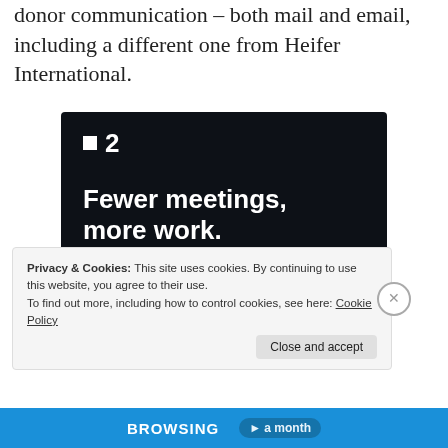donor communication – both mail and email, including a different one from Heifer International.
[Figure (screenshot): Advertisement for a project management tool (Basecamp 2 style) on dark background with logo '▪2', headline 'Fewer meetings, more work.' and a 'Get started for free' button.]
Privacy & Cookies: This site uses cookies. By continuing to use this website, you agree to their use.
To find out more, including how to control cookies, see here: Cookie Policy
Close and accept
BROWSING